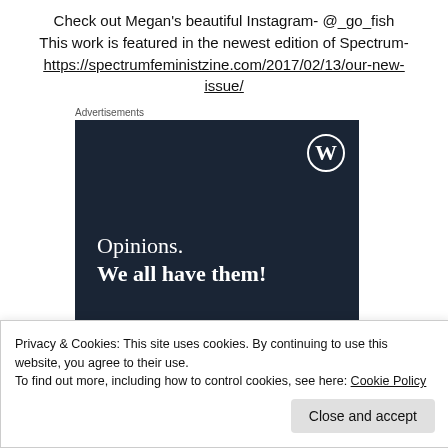Check out Megan's beautiful Instagram- @_go_fish This work is featured in the newest edition of Spectrum- https://spectrumfeministzine.com/2017/02/13/our-new-issue/
Advertisements
[Figure (other): WordPress.com advertisement banner with dark navy background, WordPress logo (W in circle) top right, text reading 'Opinions. We all have them!']
Privacy & Cookies: This site uses cookies. By continuing to use this website, you agree to their use.
To find out more, including how to control cookies, see here: Cookie Policy